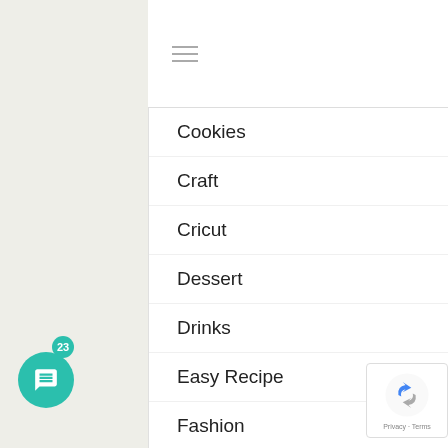Navigation header with hamburger menu and social icons (Facebook, Instagram, Pinterest)
Cookies
Craft
Cricut
Dessert
Drinks
Easy Recipe
Fashion
Healthy
Icecream
Kids in the Kitchen
lifestyle
Main Meal
Non Thermomix
Parenting